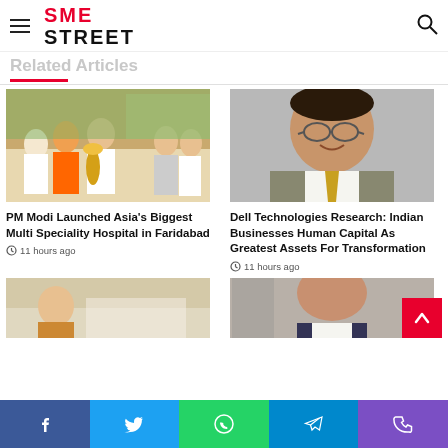SME STREET
Related Articles
[Figure (photo): PM Modi lighting a lamp at a ceremony with several people in religious attire]
PM Modi Launched Asia's Biggest Multi Speciality Hospital in Faridabad
11 hours ago
[Figure (photo): Portrait of a man in a suit with glasses, smiling]
Dell Technologies Research: Indian Businesses Human Capital As Greatest Assets For Transformation
11 hours ago
[Figure (photo): Partial image of people at a meeting or ceremony]
[Figure (photo): Partial portrait of a man in a suit]